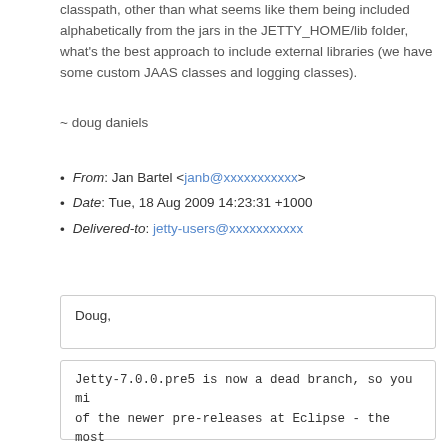classpath, other than what seems like them being included alphabetically from the jars in the JETTY_HOME/lib folder, what's the best approach to include external libraries (we have some custom JAAS classes and logging classes).
~ doug daniels
From: Jan Bartel <janb@xxxxxxxxxxx>
Date: Tue, 18 Aug 2009 14:23:31 +1000
Delivered-to: jetty-users@xxxxxxxxxxx
Doug,
Jetty-7.0.0.pre5 is now a dead branch, so you mi of the newer pre-releases at Eclipse - the most as we speak we're doing an RC4. Here's the downl
http://www.eclipse.org/jetty/downloads.php